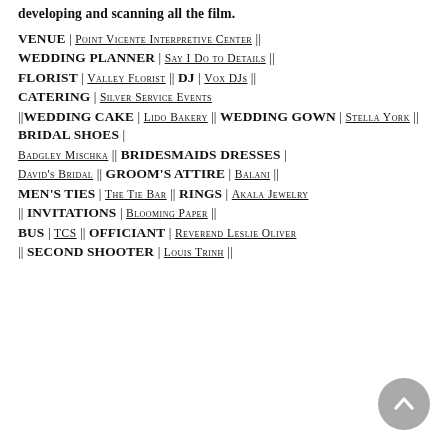developing and scanning all the film.
VENUE | POINT VICENTE INTERPRETIVE CENTER ||
WEDDING PLANNER | SAY I DO TO DETAILS ||
FLORIST | VALLEY FLORIST || DJ | VOX DJS ||
CATERING | SILVER SERVICE EVENTS ||
WEDDING CAKE | LIDO BAKERY || WEDDING GOWN | STELLA YORK || BRIDAL SHOES | BADGLEY MISCHKA ||
BRIDESMAIDS DRESSES | DAVID'S BRIDAL ||
GROOM'S ATTIRE | BALANI ||
MEN'S TIES | THE TIE BAR || RINGS | AKALA JEWELRY ||
INVITATIONS | BLOOMING PAPER ||
BUS | TCS || OFFICIANT | REVEREND LESLIE OLIVER ||
SECOND SHOOTER | LOUIS TRINH ||